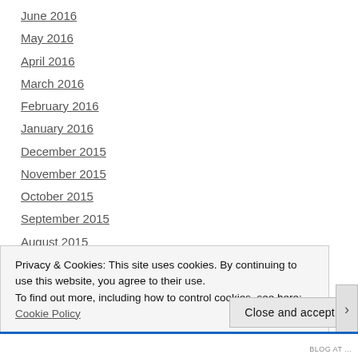June 2016
May 2016
April 2016
March 2016
February 2016
January 2016
December 2015
November 2015
October 2015
September 2015
August 2015
July 2015
June 2015
Privacy & Cookies: This site uses cookies. By continuing to use this website, you agree to their use. To find out more, including how to control cookies, see here: Cookie Policy
Close and accept